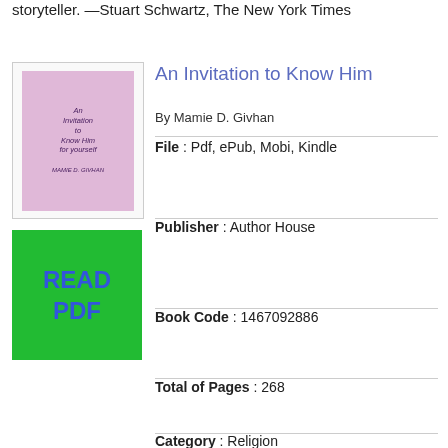storyteller. —Stuart Schwartz, The New York Times
An Invitation to Know Him
By Mamie D. Givhan
[Figure (illustration): Book cover thumbnail for 'An Invitation to Know Him' with pink/purple background and decorative text]
[Figure (other): Green READ PDF button]
File : Pdf, ePub, Mobi, Kindle
Publisher : Author House
Book Code : 1467092886
Total of Pages : 268
Category : Religion